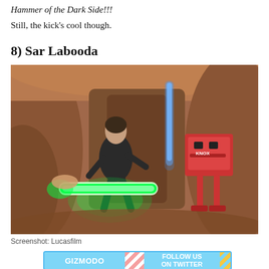Hammer of the Dark Side!!!
Still, the kick's cool though.
8) Sar Labooda
[Figure (screenshot): Screenshot from a Star Wars video game showing a character wielding a bright green lightsaber in a rocky cave environment, with an AT-ST walker visible on the right side. A blue lightsaber glows in the background.]
Screenshot: Lucasfilm
[Figure (infographic): Gizmodo advertisement banner with light blue background, showing GIZMODO logo on left, diagonal pink and white stripes in center, and FOLLOW US ON TWITTER text on right with yellow diagonal stripes on far right edge.]